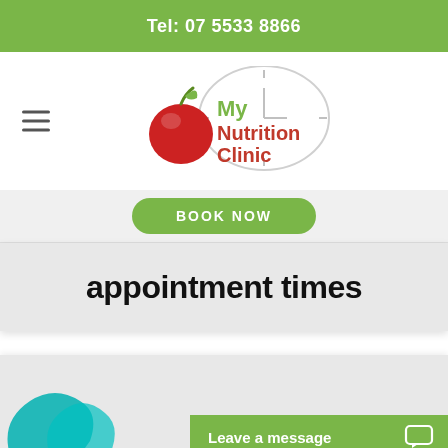Tel: 07 5533 8866
[Figure (logo): My Nutrition Clinic logo with red apple and green text]
BOOK NOW
appointment times
[Figure (logo): Partial teal/blue brand logo at bottom left]
Leave a message